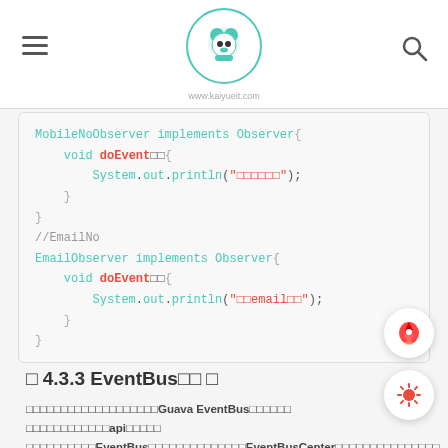www.kaiyueit.com
[Figure (screenshot): Code block showing Java observer pattern implementation with MobileNoObserver and EmailObserver classes]
⬛ 4.3.3 EventBus⬛⬛ ⬛
⬛⬛⬛⬛⬛⬛⬛⬛⬛⬛⬛⬛⬛⬛⬛⬛⬛⬛⬛Guava EventBus⬛⬛⬛⬛⬛⬛ ⬛⬛⬛⬛⬛⬛⬛⬛⬛⬛⬛⬛api⬛⬛⬛⬛⬛ ⬛⬛⬛⬛⬛⬛⬛⬛⬛⬛EventBus⬛⬛⬛⬛⬛⬛⬛⬛⬛⬛⬛⬛⬛⬛EventBusCenter⬛⬛⬛⬛⬛⬛⬛⬛⬛⬛⬛⬛⬛⬛⬛ Observerable⬛